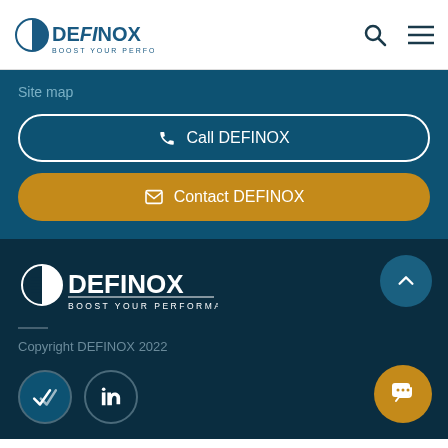DEFINOX BOOST YOUR PERFORMANCE
Site map
Call DEFINOX
Contact DEFINOX
[Figure (logo): DEFINOX BOOST YOUR PERFORMANCE logo in white on dark background]
Copyright DEFINOX 2022